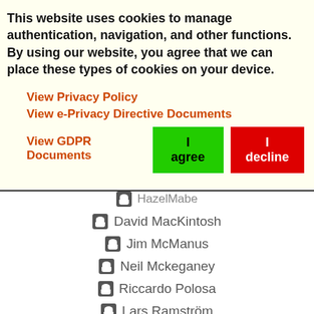This website uses cookies to manage authentication, navigation, and other functions. By using our website, you agree that we can place these types of cookies on your device.
View Privacy Policy
View e-Privacy Directive Documents
View GDPR Documents
HazelMabe
David MacKintosh
Jim McManus
Neil Mckeganey
Riccardo Polosa
Lars Ramström
Matt Ridley
Lou Ritter
Gilbert Rose